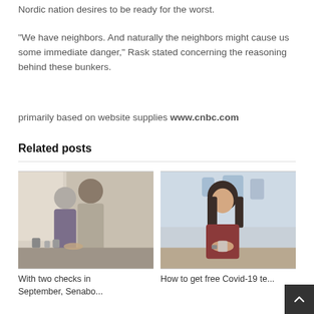Nordic nation desires to be ready for the worst.
"We have neighbors. And naturally the neighbors might cause us some immediate danger," Rask stated concerning the reasoning behind these bunkers.
primarily based on website supplies www.cnbc.com
Related posts
[Figure (photo): Two women, one elderly and one younger, working together at a kitchen counter]
With two checks in September, Senabo...
[Figure (photo): A young woman with dark hair looking down at something she is holding in her hands at a table]
How to get free Covid-19 te...